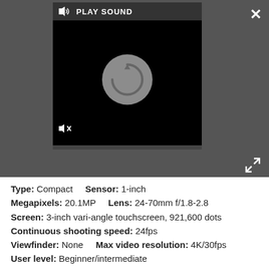[Figure (screenshot): Video player screenshot on dark background showing a circular spinner/play icon in center, a 'PLAY SOUND' button with speaker icon at top, mute icon at bottom left, and a progress bar at the bottom.]
Type: Compact    Sensor: 1-inch
Megapixels: 20.1MP    Lens: 24-70mm f/1.8-2.8
Screen: 3-inch vari-angle touchscreen, 921,600 dots
Continuous shooting speed: 24fps
Viewfinder: None    Max video resolution: 4K/30fps
User level: Beginner/intermediate
TODAY'S BEST DEALS
View at Amazon
View at Walmart
View at Best Buy
REASONS TO BUY